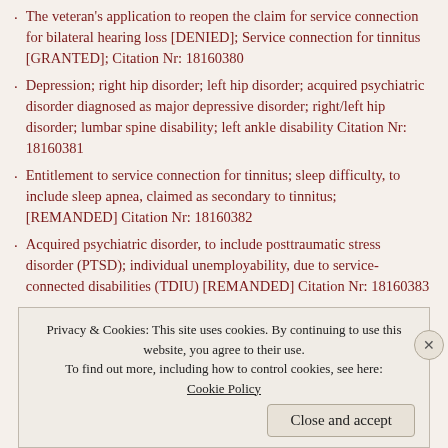The veteran's application to reopen the claim for service connection for bilateral hearing loss [DENIED]; Service connection for tinnitus [GRANTED]; Citation Nr: 18160380
Depression; right hip disorder; left hip disorder; acquired psychiatric disorder diagnosed as major depressive disorder; right/left hip disorder; lumbar spine disability; left ankle disability Citation Nr: 18160381
Entitlement to service connection for tinnitus; sleep difficulty, to include sleep apnea, claimed as secondary to tinnitus; [REMANDED] Citation Nr: 18160382
Acquired psychiatric disorder, to include posttraumatic stress disorder (PTSD); individual unemployability, due to service-connected disabilities (TDIU) [REMANDED] Citation Nr: 18160383
Privacy & Cookies: This site uses cookies. By continuing to use this website, you agree to their use. To find out more, including how to control cookies, see here: Cookie Policy